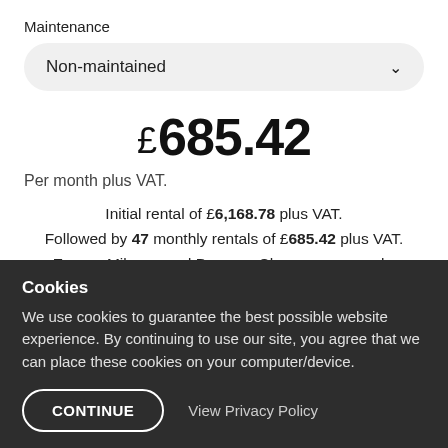Maintenance
Non-maintained
£685.42
Per month plus VAT.
Initial rental of £6,168.78 plus VAT. Followed by 47 monthly rentals of £685.42 plus VAT. Excess Mileage and Damage Charges may apply.
Cookies
We use cookies to guarantee the best possible website experience. By continuing to use our site, you agree that we can place these cookies on your computer/device.
CONTINUE
View Privacy Policy